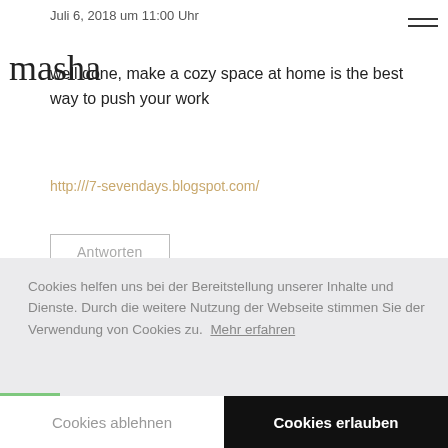Juli 6, 2018 um 11:00 Uhr
[Figure (illustration): Handwritten cursive signature/logo reading 'masha']
well done, make a cozy space at home is the best way to push your work
http:///7-sevendays.blogspot.com/
Antworten
Cookies helfen uns bei der Bereitstellung unserer Inhalte und Dienste. Durch die weitere Nutzung der Webseite stimmen Sie der Verwendung von Cookies zu. Mehr erfahren
Cookies ablehnen
Cookies erlauben